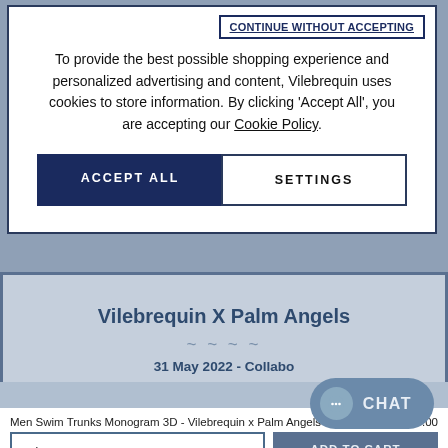CONTINUE WITHOUT ACCEPTING
To provide the best possible shopping experience and personalized advertising and content, Vilebrequin uses cookies to store information. By clicking ‘Accept All’, you are accepting our Cookie Policy.
ACCEPT ALL
SETTINGS
Vilebrequin X Palm Angels
31 May 2022 - Collabo
CHAT
Men Swim Trunks Monogram 3D - Vilebrequin x Palm Angels   $360.00
Size
ADD TO CART
Received by September 04. Free Shipping. Free returns.